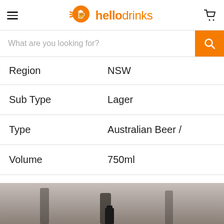[Figure (logo): hellodrinks logo with orange icon and orange/black text]
What are you looking for?
| Region | NSW |
| Sub Type | Lager |
| Type | Australian Beer / |
| Volume | 750ml |
[Figure (photo): Bottom portion of a photo showing a dark bottle on a blurred background]